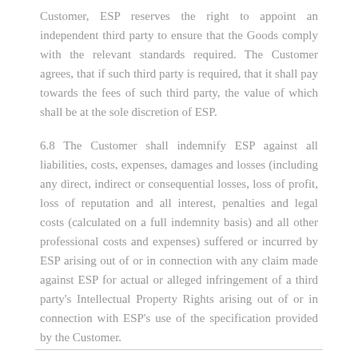Customer, ESP reserves the right to appoint an independent third party to ensure that the Goods comply with the relevant standards required. The Customer agrees, that if such third party is required, that it shall pay towards the fees of such third party, the value of which shall be at the sole discretion of ESP.
6.8 The Customer shall indemnify ESP against all liabilities, costs, expenses, damages and losses (including any direct, indirect or consequential losses, loss of profit, loss of reputation and all interest, penalties and legal costs (calculated on a full indemnity basis) and all other professional costs and expenses) suffered or incurred by ESP arising out of or in connection with any claim made against ESP for actual or alleged infringement of a third party's Intellectual Property Rights arising out of or in connection with ESP's use of the specification provided by the Customer.